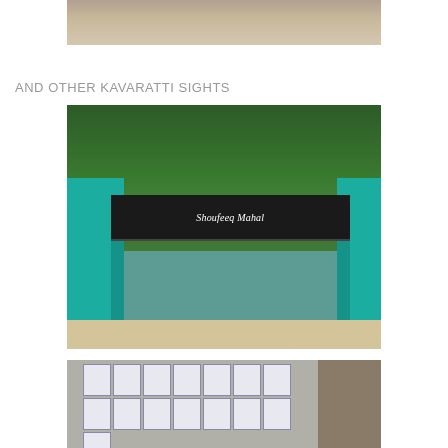[Figure (photo): Partial view of sandy beach or sandy ground, top portion cropped]
AND OTHER KAVARATTI SIGHTS
[Figure (photo): Gate of a property named 'Shoufeeq Mahal' with decorative ironwork gate, teal/turquoise pillars, black sign with white cursive text, tropical trees visible behind]
[Figure (photo): Decorative tiles or name plates laid out on sandy ground near a building wall, with ornate framed designs]